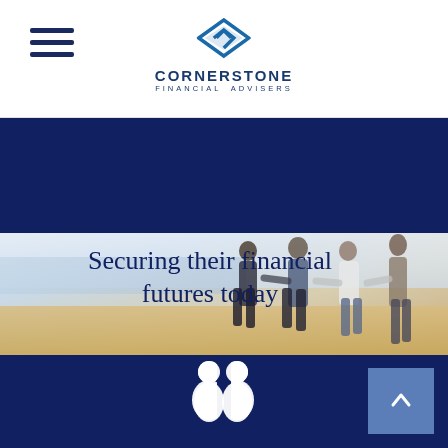Cornerstone Financial Advisers
[Figure (logo): Cornerstone Financial Advisers logo with blue diamond/arrow chevron and company name in uppercase letters with tagline]
[Figure (photo): Hero banner showing a family of four (two adults, elderly woman, and young woman) walking together on a beach, with overlaid text 'Securing their financial futures today']
Securing their financial futures today
[Figure (infographic): White silhouette icon of two people (group/family icon) on dark navy background, representing client families]